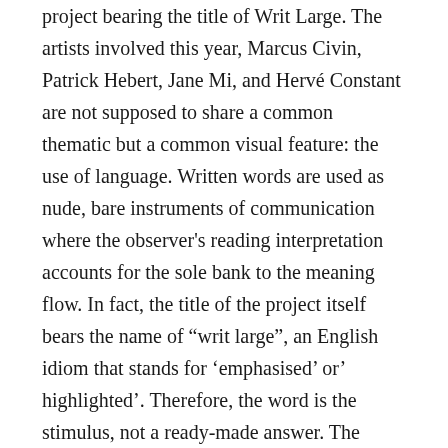project bearing the title of Writ Large. The artists involved this year, Marcus Civin, Patrick Hebert, Jane Mi, and Hervé Constant are not supposed to share a common thematic but a common visual feature: the use of language. Written words are used as nude, bare instruments of communication where the observer's reading interpretation accounts for the sole bank to the meaning flow. In fact, the title of the project itself bears the name of "writ large", an English idiom that stands for 'emphasised' or' highlighted'. Therefore, the word is the stimulus, not a ready-made answer. The observer-reader is given the uncomfortable and risky task of joining a debate; the spectator is bound to a visual legacy once they lay their eyes on the works. As stated above, the project is hosted